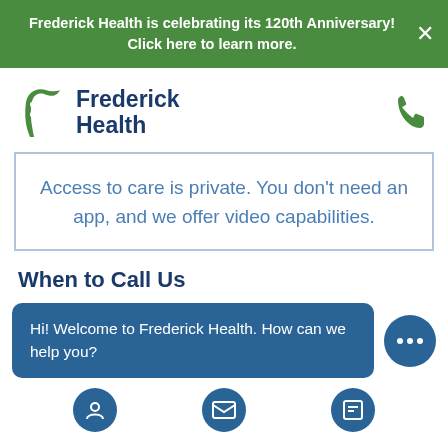Frederick Health is celebrating its 120th Anniversary! Click here to learn more.
[Figure (logo): Frederick Health logo with green flag/F icon and dark blue text]
Access to care is private. You don't need an app, and we offer video capabilities.
When to Call Us
Hi! Welcome to Frederick Health. How can we help you?